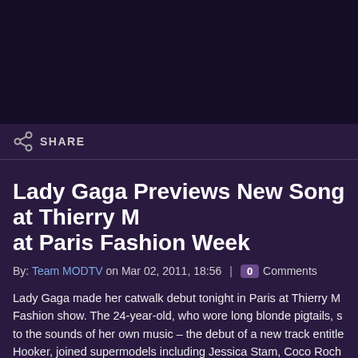[Figure (other): Dark purple/black banner area at top of page (video/image placeholder)]
SHARE
Lady Gaga Previews New Song at Thierry M at Paris Fashion Week
By: Team MODTV on Mar 02, 2011, 18:56 | 0 Comments
Lady Gaga made her catwalk debut tonight in Paris at Thierry M Fashion show. The 24-year-old, who wore long blonde pigtails, s to the sounds of her own music – the debut of a new track entitle Hooker, joined supermodels including Jessica Stam, Coco Roch on the runway, all dressed as Gaga-alikes with flowing peroxide blonde devil horns, lip-synching to the music.
But unlike the other girls, Gaga seemed at ease walking in the to chaos – an art she has mastered in her high-octane stage-rout